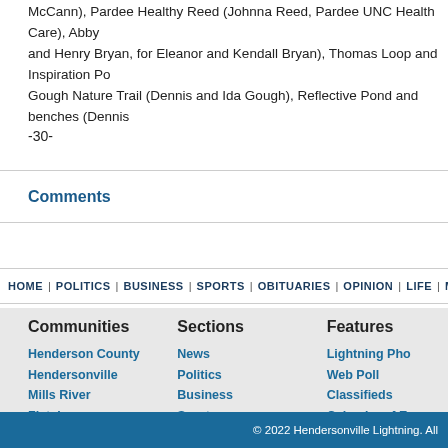McCann), Pardee Healthy Reed (Johnna Reed, Pardee UNC Health Care), Abby and Henry Bryan, for Eleanor and Kendall Bryan), Thomas Loop and Inspiration Po... Gough Nature Trail (Dennis and Ida Gough), Reflective Pond and benches (Dennis...
-30-
Comments
HOME | POLITICS | BUSINESS | SPORTS | OBITUARIES | OPINION | LIFE | M...
Communities
Henderson County
Hendersonville
Mills River
Fletcher
Flat Rock
Laurel Park
Etowah
Edneyville
Green River
Saluda
North Carolina
Sections
News
Politics
Business
Sports
Obituaries
Opinion
Life
MossBlog
Politics
Community News
Features
Lightning Pho...
Web Poll
Classifieds
Calendar of Ev...
Mobile Edition...
© 2022 Hendersonville Lightning. All